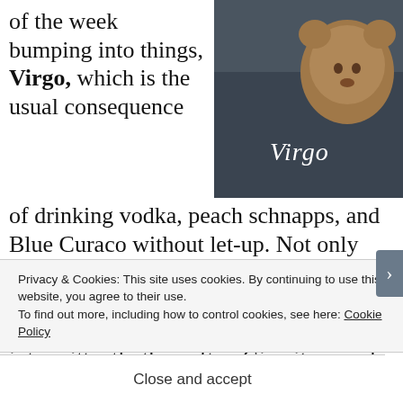of the week bumping into things, Virgo, which is the usual consequence of drinking vodka, peach schnapps, and Blue Curaco without let-up. Not only will you bang up your elbows and knees; you'll keel over on top of a delicate appliance, which will work only intermittently thereafter. Give it a good kick, Virgo, but mind your toes. You're already a mess.
[Figure (photo): Photo of a brown teddy bear against a dark background with the word 'Virgo' written in white text]
Privacy & Cookies: This site uses cookies. By continuing to use this website, you agree to their use.
To find out more, including how to control cookies, see here: Cookie Policy
Close and accept